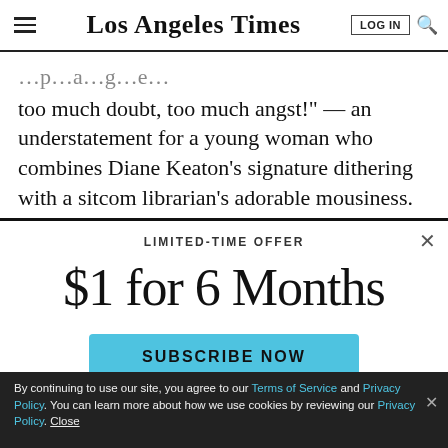Los Angeles Times
too much doubt, too much angst!" — an understatement for a young woman who combines Diane Keaton's signature dithering with a sitcom librarian's adorable mousiness. "The Language Archive," which received the 2010 Susan Smith Blackburn Prize, awarded to
LIMITED-TIME OFFER
$1 for 6 Months
SUBSCRIBE NOW
By continuing to use our site, you agree to our Terms of Service and Privacy Policy. You can learn more about how we use cookies by reviewing our Privacy Policy. Close